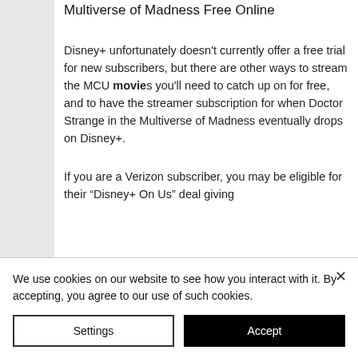Multiverse of Madness Free Online
Disney+ unfortunately doesn't currently offer a free trial for new subscribers, but there are other ways to stream the MCU movies you'll need to catch up on for free, and to have the streamer subscription for when Doctor Strange in the Multiverse of Madness eventually drops on Disney+.
If you are a Verizon subscriber, you may be eligible for their “Disney+ On Us” deal giving
We use cookies on our website to see how you interact with it. By accepting, you agree to our use of such cookies.